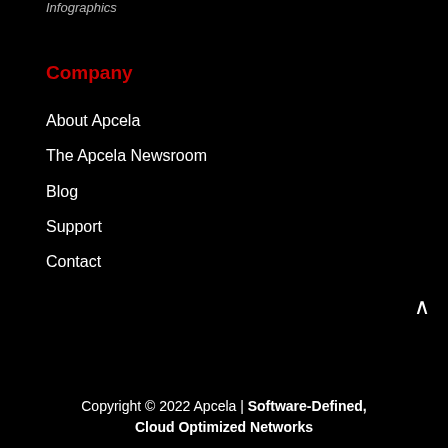Infographics
Company
About Apcela
The Apcela Newsroom
Blog
Support
Contact
Copyright © 2022 Apcela | Software-Defined, Cloud Optimized Networks